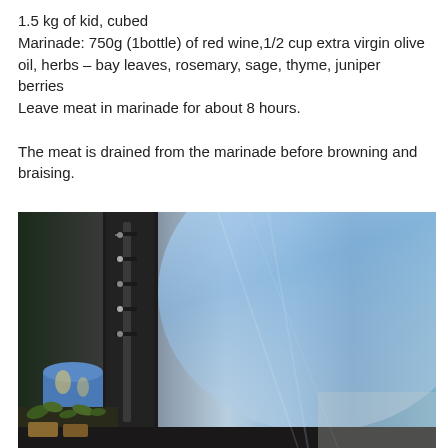1.5 kg of kid, cubed
Marinade: 750g (1bottle) of red wine,1/2 cup extra virgin olive oil, herbs – bay leaves, rosemary, sage, thyme, juniper berries
Leave meat in marinade for about 8 hours.

The meat is drained from the marinade before browning and braising.
[Figure (photo): Kitchen scene showing a large stainless steel appliance (possibly a refrigerator or oven) with blue-tinted light reflection. On the left side, a magnetic knife strip with multiple knives, a decorative blue ceramic container, and herbs/plants in small pots on a dark countertop.]